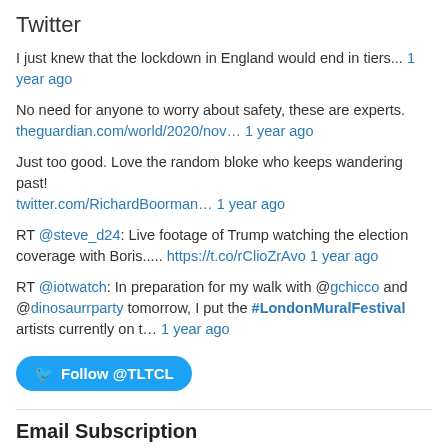Twitter
I just knew that the lockdown in England would end in tiers... 1 year ago
No need for anyone to worry about safety, these are experts. theguardian.com/world/2020/nov… 1 year ago
Just too good. Love the random bloke who keeps wandering past! twitter.com/RichardBoorman… 1 year ago
RT @steve_d24: Live footage of Trump watching the election coverage with Boris..... https://t.co/rClioZrAvo 1 year ago
RT @iotwatch: In preparation for my walk with @gchicco and @dinosaurrparty tomorrow, I put the #LondonMuralFestival artists currently on t… 1 year ago
Follow @TLTCL
Email Subscription